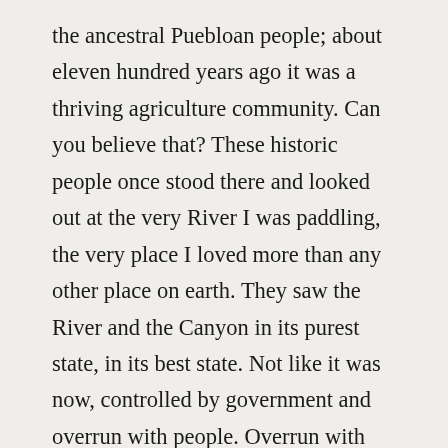the ancestral Puebloan people; about eleven hundred years ago it was a thriving agriculture community. Can you believe that? These historic people once stood there and looked out at the very River I was paddling, the very place I loved more than any other place on earth. They saw the River and the Canyon in its purest state, in its best state. Not like it was now, controlled by government and overrun with people. Overrun with the modern world. Long ago among those very cliffs; people, families and communities lived an extraordinarily difficult and wondrous life. Their stories still hung around there. Their struggles still surround that area and their artistic talent for building dwellings and such lives on forever. Sitting there looking down at the River is a special experience, you can feel the time